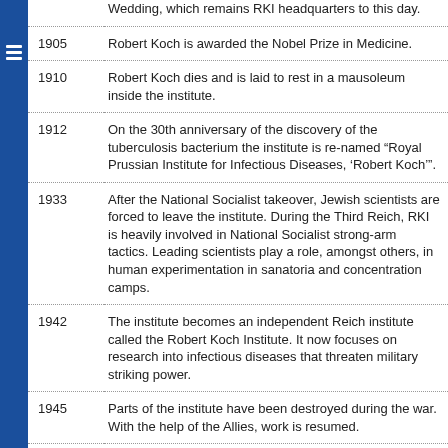| Year | Event |
| --- | --- |
|  | Wedding, which remains RKI headquarters to this day. |
| 1905 | Robert Koch is awarded the Nobel Prize in Medicine. |
| 1910 | Robert Koch dies and is laid to rest in a mausoleum inside the institute. |
| 1912 | On the 30th anniversary of the discovery of the tuberculosis bacterium the institute is re-named "Royal Prussian Institute for Infectious Diseases, 'Robert Koch'". |
| 1933 | After the National Socialist takeover, Jewish scientists are forced to leave the institute. During the Third Reich, RKI is heavily involved in National Socialist strong-arm tactics. Leading scientists play a role, amongst others, in human experimentation in sanatoria and concentration camps. |
| 1942 | The institute becomes an independent Reich institute called the Robert Koch Institute. It now focuses on research into infectious diseases that threaten military striking power. |
| 1945 | Parts of the institute have been destroyed during the war. With the help of the Allies, work is resumed. |
| 1952 | RKI becomes part of the newly-founded Federal Health Office. The building on the Nordufer is extended, laboratories and stables are modernised. |